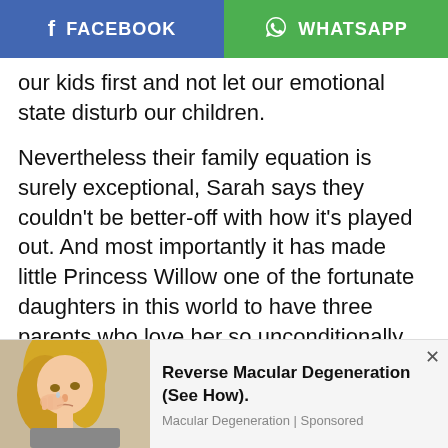[Figure (other): Facebook and WhatsApp share buttons bar at top of page]
our kids first and not let our emotional state disturb our children.
Nevertheless their family equation is surely exceptional, Sarah says they couldn’t be better-off with how it’s played out. And most importantly it has made little Princess Willow one of the fortunate daughters in this world to have three parents who love her so unconditionally.
Give hope. Inspire. Change lives. Share this story.
[Figure (photo): Advertisement banner showing a blonde woman crying, with text: Reverse Macular Degeneration (See How). Macular Degeneration | Sponsored]